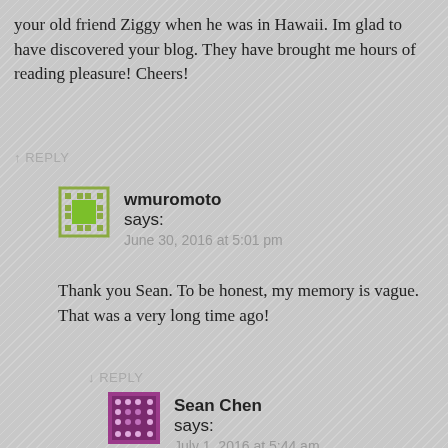your old friend Ziggy when he was in Hawaii. Im glad to have discovered your blog. They have brought me hours of reading pleasure! Cheers!
↑ REPLY
wmuromoto says:
June 30, 2016 at 5:01 pm
Thank you Sean. To be honest, my memory is vague. That was a very long time ago!
↓ REPLY
Sean Chen says:
July 1, 2016 at 5:44 am
Indeed it was Wayne. I was in my mid 20s and now I'm 40. So your memory is fine. Is just time that went by too quickly. But it's great to link